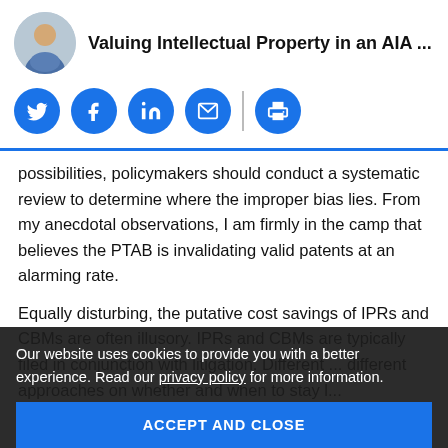[Figure (photo): Circular avatar/headshot of a man in professional attire]
Valuing Intellectual Property in an AIA ...
[Figure (infographic): Social sharing icons: Twitter, Facebook, LinkedIn, Email, Print — blue circular buttons]
possibilities, policymakers should conduct a systematic review to determine where the improper bias lies. From my anecdotal observations, I am firmly in the camp that believes the PTAB is invalidating valid patents at an alarming rate.
Equally disturbing, the putative cost savings of IPRs and CBMs are often illusory. IPRs and CBMs are typically filed in conjunction with litigation. Different ... different approaches on whether and when to stay l...
Our website uses cookies to provide you with a better experience. Read our privacy policy for more information.
ACCEPT AND CLOSE
parties have the added cost and complexity of